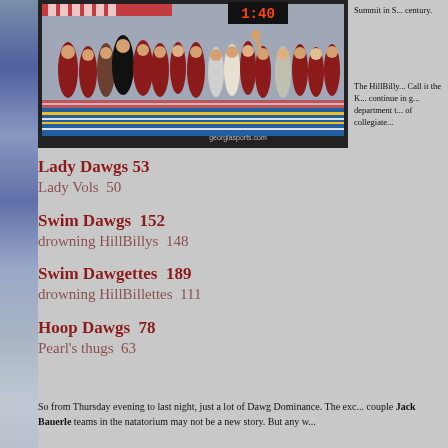[Figure (photo): A swim team gathered at the edge of a pool, many wearing red uniforms, with a scoreboard showing 1:40 in the background.]
Summit in S... century.
The HillBilly... Call it the K... continue in g... department t... of collegiate...
Lady Dawgs 53
Lady Vols  50
Swim Dawgs  152
drowning HillBillys  148
Swim Dawgettes  189
drowning HillBillettes  111
Hoop Dawgs  78
Pearl's thugs  63
So from Thursday evening to last night, just a lot of Dawg Dominance. The exc... couple Jack Bauerle teams in the natatorium may not be a new story. But any w...